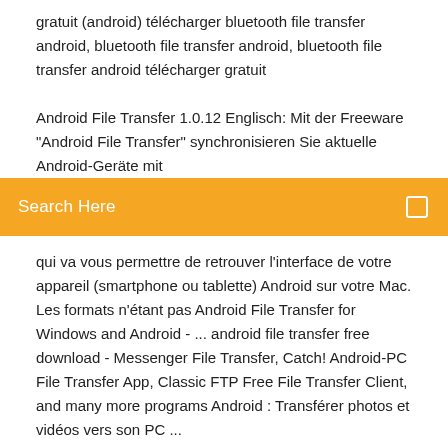gratuit (android) télécharger bluetooth file transfer android, bluetooth file transfer android, bluetooth file transfer android télécharger gratuit
Android File Transfer 1.0.12 Englisch: Mit der Freeware "Android File Transfer" synchronisieren Sie aktuelle Android-Geräte mit
Search Here
qui va vous permettre de retrouver l'interface de votre appareil (smartphone ou tablette) Android sur votre Mac. Les formats n'étant pas Android File Transfer for Windows and Android - ... android file transfer free download - Messenger File Transfer, Catch! Android-PC File Transfer App, Classic FTP Free File Transfer Client, and many more programs Android : Transférer photos et vidéos vers son PC ...
Android file transfer windows 10 à télécharger ...
Keep your emails safe and retrievable for years. Download